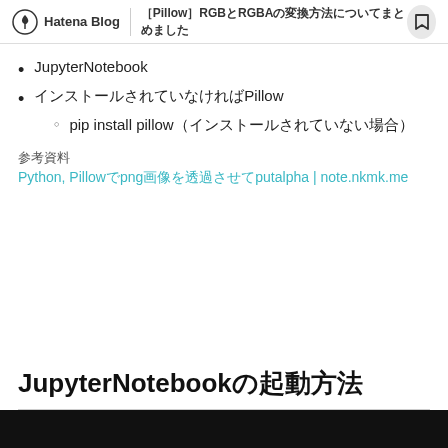Hatena Blog | ［Pillow］RGBとRGBAの変換方法についてまとめました
JupyterNotebook
インストールされていなければPillow
pip install pillow（インストールされていない場合）
参考資料
Python, Pillowでpng画像を透過させてputalpha | note.nkmk.me
JupyterNotebookの起動方法